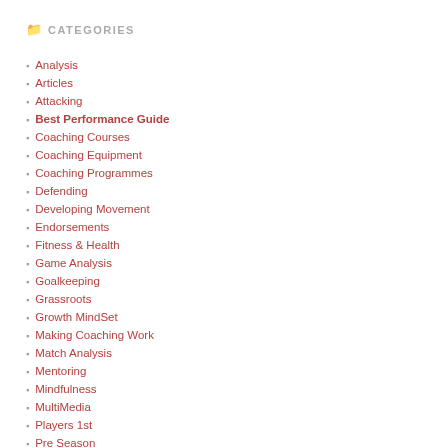CATEGORIES
Analysis
Articles
Attacking
Best Performance Guide
Coaching Courses
Coaching Equipment
Coaching Programmes
Defending
Developing Movement
Endorsements
Fitness & Health
Game Analysis
Goalkeeping
Grassroots
Growth MindSet
Making Coaching Work
Match Analysis
Mentoring
Mindfulness
MultiMedia
Players 1st
Pre Season
Reaction Activities
Reflections
Reviews